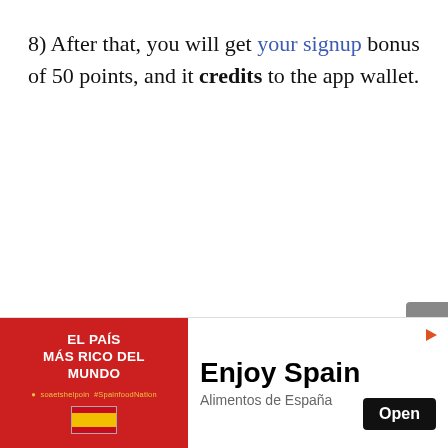8) After that, you will get your signup bonus of 50 points, and it credits to the app wallet.
[Figure (other): Advertisement banner for 'Enjoy Spain / Alimentos de España' with a red background image on the left showing 'EL PAÍS MÁS RICO DEL MUNDO' text and a Spanish flag, and text 'Enjoy Spain' with 'Open' button on the right.]